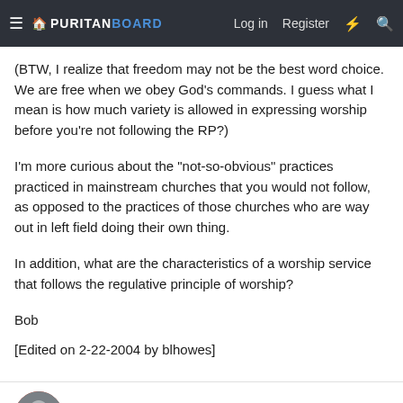≡  PURITAN BOARD   Log in   Register  ⚡  🔍
(BTW, I realize that freedom may not be the best word choice. We are free when we obey God's commands. I guess what I mean is how much variety is allowed in expressing worship before you're not following the RP?)
I'm more curious about the &quot;not-so-obvious&quot; practices practiced in mainstream churches that you would not follow, as opposed to the practices of those churches who are way out in left field doing their own thing.
In addition, what are the characteristics of a worship service that follows the regulative principle of worship?
Bob
[Edited on 2-22-2004 by blhowes]
Scott Bushey